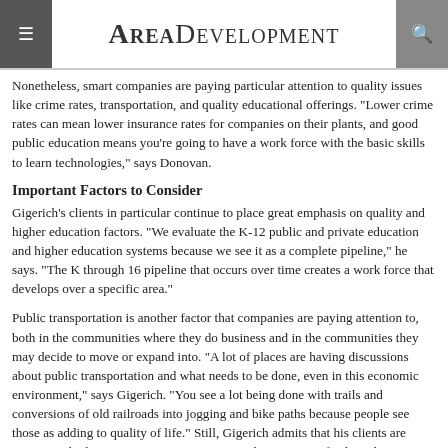AREA DEVELOPMENT
Nonetheless, smart companies are paying particular attention to quality issues like crime rates, transportation, and quality educational offerings. "Lower crime rates can mean lower insurance rates for companies on their plants, and good public education means you're going to have a work force with the basic skills to learn technologies," says Donovan.
Important Factors to Consider
Gigerich's clients in particular continue to place great emphasis on quality and higher education factors. "We evaluate the K-12 public and private education and higher education systems because we see it as a complete pipeline," he says. "The K through 16 pipeline that occurs over time creates a work force that develops over a specific area."
Public transportation is another factor that companies are paying attention to, both in the communities where they do business and in the communities they may decide to move or expand into. "A lot of places are having discussions about public transportation and what needs to be done, even in this economic environment," says Gigerich. "You see a lot being done with trails and conversions of old railroads into jogging and bike paths because people see those as adding to quality of life." Still, Gigerich admits that his clients are starting to look at constructing new, or expanding existing, facilities have quality of life issues and he thinks "We're seeing a..."